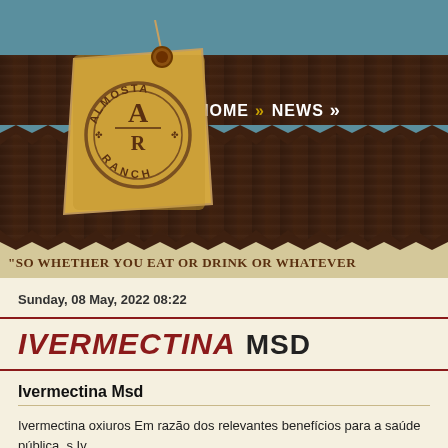[Figure (logo): Almosta Ranch logo — a kraft-paper price tag with twine and a red button, circular logo with AR monogram and text ALMOSTA RANCH]
» HOME   » NEWS
"SO WHETHER YOU EAT OR DRINK OR WHATEVER
Sunday, 08 May, 2022 08:22
IVERMECTINA  MSD
Ivermectina Msd
Ivermectina oxiuros Em razão dos relevantes benefícios para a saúde pública, s.Iv